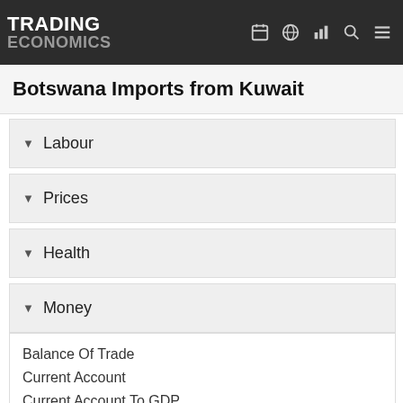TRADING ECONOMICS
Botswana Imports from Kuwait
Labour
Prices
Health
Money
Trade
Balance Of Trade
Current Account
Current Account To GDP
Exports
Exports By Category
Exports By Country